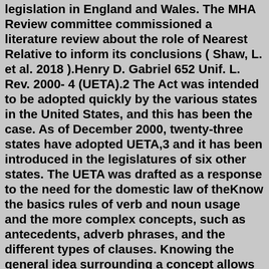legislation in England and Wales. The MHA Review committee commissioned a literature review about the role of Nearest Relative to inform its conclusions ( Shaw, L. et al. 2018 ).Henry D. Gabriel 652 Unif. L. Rev. 2000- 4 (UETA).2 The Act was intended to be adopted quickly by the various states in the United States, and this has been the case. As of December 2000, twenty-three states have adopted UETA,3 and it has been introduced in the legislatures of six other states. The UETA was drafted as a response to the need for the domestic law of theKnow the basics rules of verb and noun usage and the more complex concepts, such as antecedents, adverb phrases, and the different types of clauses. Knowing the general idea surrounding a concept allows you to determine the answer to most of the English ACT test questions. First, gather a clear definition of each part of speech. ACT English Practice. Practice Test 58. Practice Test 57. Practice Test 56. Practice Test 55. Practice Test 54. Practice Test 53. Practice Test 52. Practice Test 51. ACT Logo. Wikimedia Commons. ACT Academy is a